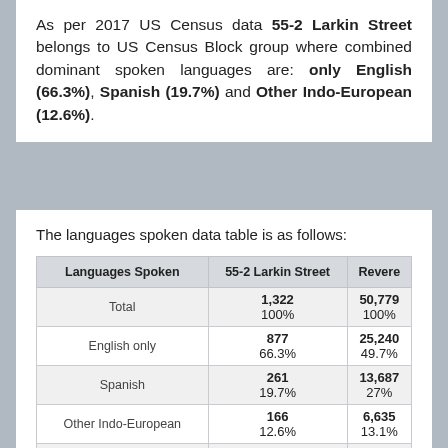As per 2017 US Census data 55-2 Larkin Street belongs to US Census Block group where combined dominant spoken languages are: only English (66.3%), Spanish (19.7%) and Other Indo-European (12.6%).
The languages spoken data table is as follows:
| Languages Spoken | 55-2 Larkin Street | Revere |
| --- | --- | --- |
| Total | 1,322
100% | 50,779
100% |
| English only | 877
66.3% | 25,240
49.7% |
| Spanish | 261
19.7% | 13,687
27% |
| Other Indo-European | 166
12.6% | 6,635
13.1% |
| Asian and Pacific Island | 0 | 2,012 |